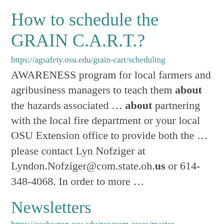How to schedule the GRAIN C.A.R.T.?
https://agsafety.osu.edu/grain-cart/scheduling
AWARENESS program for local farmers and agribusiness managers to teach them about the hazards associated ... about partnering with the local fire department or your local OSU Extension office to provide both the ... please contact Lyn Nofziger at Lyndon.Nofziger@com.state.oh.us or 614-348-4068. In order to more ...
Newsletters
https://coshocton.osu.edu/program-areas/master-